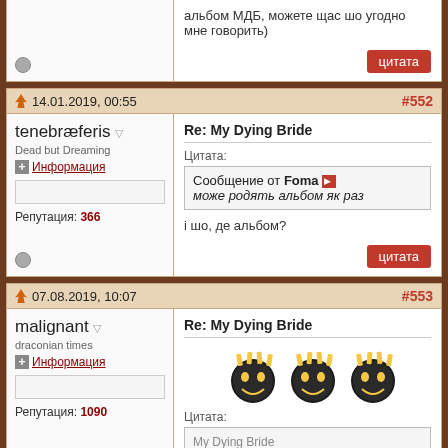альбом МДБ, можете щас шо угодно мне говорить)
цитата
14.01.2019, 00:55 #552
tenebræferis
Dead but Dreaming
Информация
Репутация: 366
Re: My Dying Bride
Цитата: Сообщение от Foma може родять альбом як раз
i шо, де альбом?
цитата
07.08.2019, 10:07 #553
malignant
draconian times
Информация
Репутация: 1090
Re: My Dying Bride
[Figure (illustration): Three metal smiley face emoticons with devil horns]
Цитата:
My Dying Bride